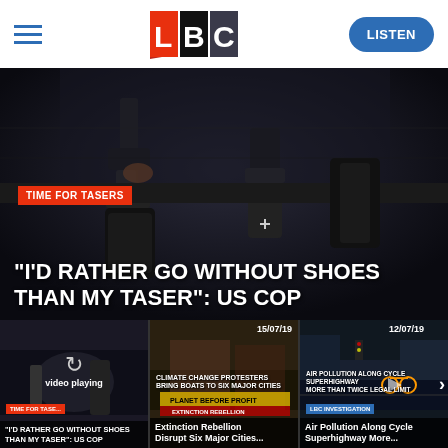LBC
[Figure (screenshot): LBC news website screenshot showing a main video still of a police officer's utility belt with Taser and gun, headlined TIME FOR TASERS — "I'D RATHER GO WITHOUT SHOES THAN MY TASER": US COP, plus three thumbnail cards below]
"I'D RATHER GO WITHOUT SHOES THAN MY TASER": US COP
TIME FOR TASERS
[Figure (screenshot): Thumbnail 1: video playing — TIME FOR TASERS "I'D RATHER GO WITHOUT SHOES THAN MY TASER": US COP]
[Figure (screenshot): Thumbnail 2: 15/07/19 — CLIMATE CHANGE PROTESTERS BRING BOATS TO SIX MAJOR CITIES. Extinction Rebellion Disrupt Six Major Cities...]
[Figure (screenshot): Thumbnail 3: 12/07/19 — LBC INVESTIGATION. AIR POLLUTION ALONG CYCLE SUPERHIGHWAY MORE THAN TWICE LEGAL LIMIT. Air Pollution Along Cycle Superhighway More...]